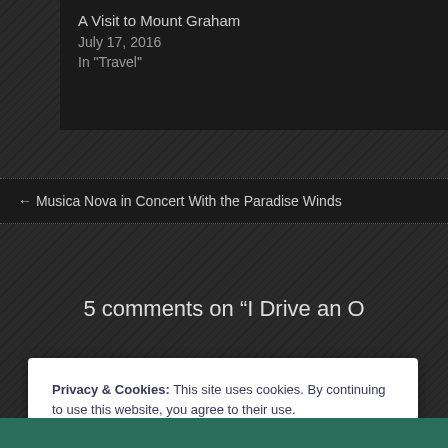A Visit to Mount Graham
July 17, 2016
In "Travel"
← Musica Nova in Concert With the Paradise Winds
5 comments on “I Drive an O
Privacy & Cookies: This site uses cookies. By continuing to use this website, you agree to their use.
To find out more, including how to control cookies, see here: Cookie Policy
Close and accept